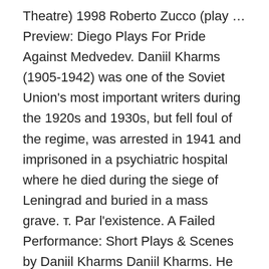Theatre) 1998 Roberto Zucco (play … Preview: Diego Plays For Pride Against Medvedev. Daniil Kharms (1905-1942) was one of the Soviet Union's most important writers during the 1920s and 1930s, but fell foul of the regime, was arrested in 1941 and imprisoned in a psychiatric hospital where he died during the siege of Leningrad and buried in a mass grave. т. Par l'existence. A Failed Performance: Short Plays & Scenes by Daniil Kharms Daniil Kharms. He also wrote poems and absurd short stories, often published in underground magazines, after the avant-garde literary societies that Kharms was associated with were banned by the Stalin regime. "Daniil Charms" war kein Pseudonym,